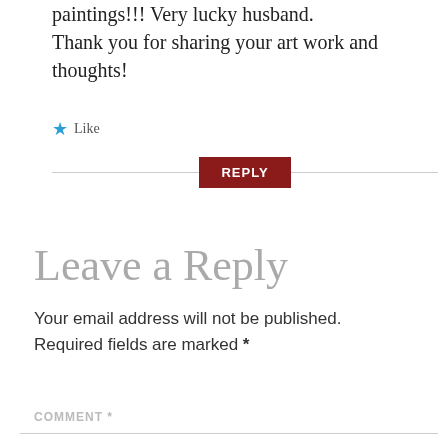paintings!!! Very lucky husband. Thank you for sharing your art work and thoughts!
★ Like
REPLY
Leave a Reply
Your email address will not be published. Required fields are marked *
COMMENT *